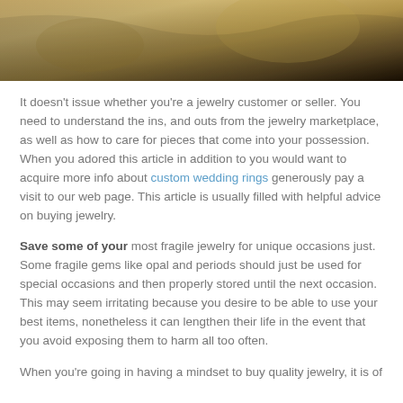[Figure (photo): Partial view of a person wearing or holding golden/olive colored fabric or clothing, cropped at the top of the page]
It doesn't issue whether you're a jewelry customer or seller. You need to understand the ins, and outs from the jewelry marketplace, as well as how to care for pieces that come into your possession. When you adored this article in addition to you would want to acquire more info about custom wedding rings generously pay a visit to our web page. This article is usually filled with helpful advice on buying jewelry.
Save some of your most fragile jewelry for unique occasions just. Some fragile gems like opal and periods should just be used for special occasions and then properly stored until the next occasion. This may seem irritating because you desire to be able to use your best items, nonetheless it can lengthen their life in the event that you avoid exposing them to harm all too often.
When you're going in having a mindset to buy quality jewelry, it is of